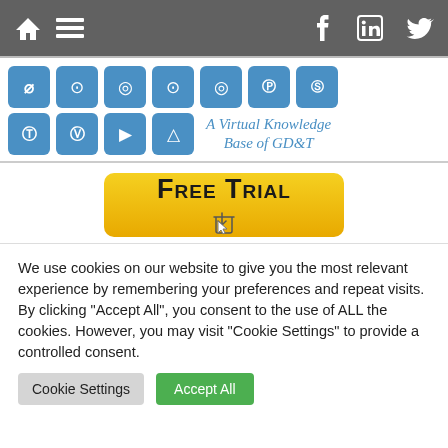Navigation bar with home, menu, Facebook, LinkedIn, Twitter icons
[Figure (screenshot): GD&T virtual knowledge base icon grid showing 11 blue rounded square icons with GD&T symbols (diameter, circle, clock, bullseye, target, P-circle, ST-circle, T-circle, V-circle, play triangle, delta triangle) and italic text 'A Virtual Knowledge Base of GD&T']
[Figure (screenshot): Yellow gradient 'Free Trial' button with small pointer cursor icon below text]
We use cookies on our website to give you the most relevant experience by remembering your preferences and repeat visits. By clicking "Accept All", you consent to the use of ALL the cookies. However, you may visit "Cookie Settings" to provide a controlled consent.
Cookie Settings | Accept All